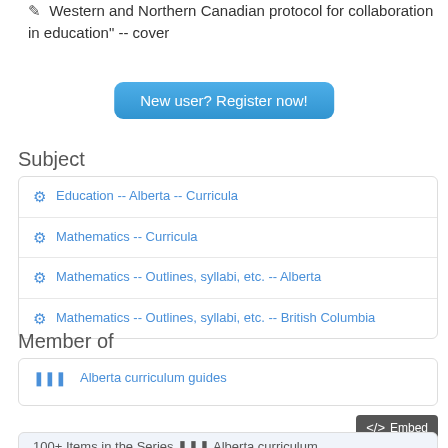Western and Northern Canadian protocol for collaboration in education" -- cover
New user? Register now!
Subject
Education -- Alberta -- Curricula
Mathematics -- Curricula
Mathematics -- Outlines, syllabi, etc. -- Alberta
Mathematics -- Outlines, syllabi, etc. -- British Columbia
Member of
Alberta curriculum guides
</> Embed
100+ Items in the Series Alberta curriculum